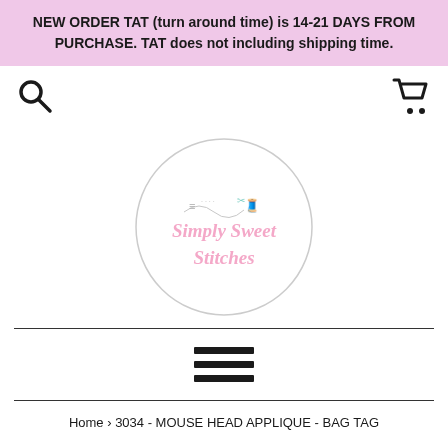NEW ORDER TAT (turn around time) is 14-21 DAYS FROM PURCHASE. TAT does not including shipping time.
[Figure (logo): Simply Sweet Stitches logo — circular border with script text 'Simply Sweet Stitches' in pink and a sewing machine icon in mint green]
Home › 3034 - MOUSE HEAD APPLIQUE - BAG TAG